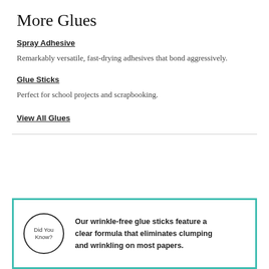More Glues
Spray Adhesive
Remarkably versatile, fast-drying adhesives that bond aggressively.
Glue Sticks
Perfect for school projects and scrapbooking.
View All Glues
Our wrinkle-free glue sticks feature a clear formula that eliminates clumping and wrinkling on most papers.